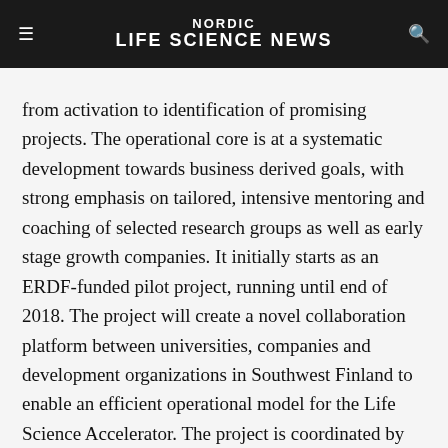NORDIC LIFE SCIENCE NEWS
from activation to identification of promising projects. The operational core is at a systematic development towards business derived goals, with strong emphasis on tailored, intensive mentoring and coaching of selected research groups as well as early stage growth companies. It initially starts as an ERDF-funded pilot project, running until end of 2018. The project will create a novel collaboration platform between universities, companies and development organizations in Southwest Finland to enable an efficient operational model for the Life Science Accelerator. The project is coordinated by Turku Science Park Oy in cooperation with Turku University of Applied Sciences Ltd, University of Turku, Southwest